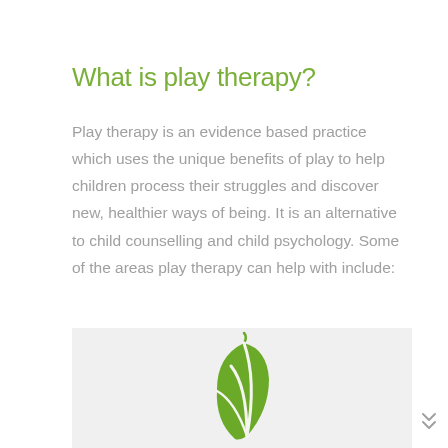What is play therapy?
Play therapy is an evidence based practice which uses the unique benefits of play to help children process their struggles and discover new, healthier ways of being. It is an alternative to child counselling and child psychology. Some of the areas play therapy can help with include:
[Figure (logo): Green leaf/sprout logo on a light gray background, partially visible at the bottom of the page]